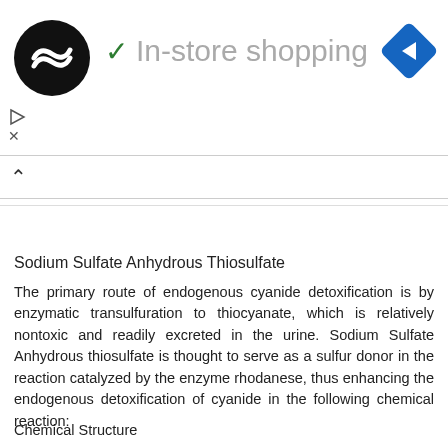[Figure (screenshot): Ad banner with black circular logo, checkmark icon, 'In-store shopping' text in gray, and blue diamond navigation arrow icon]
Sodium Sulfate Anhydrous Thiosulfate
The primary route of endogenous cyanide detoxification is by enzymatic transulfuration to thiocyanate, which is relatively nontoxic and readily excreted in the urine. Sodium Sulfate Anhydrous thiosulfate is thought to serve as a sulfur donor in the reaction catalyzed by the enzyme rhodanese, thus enhancing the endogenous detoxification of cyanide in the following chemical reaction:
Chemical Structure
12. 2 Pharmacodynamics
Sodium Sulfate Anhydrous Nitrite